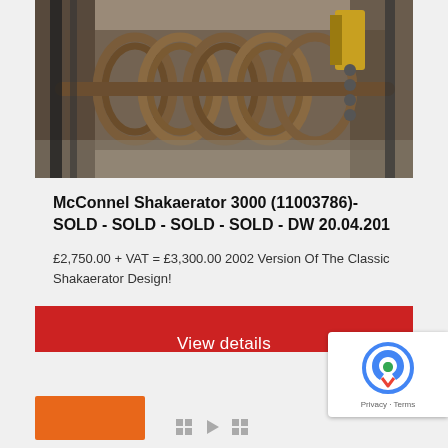[Figure (photo): Close-up photograph of a McConnel Shakaerator 3000 agricultural machine showing metallic spring coils and tines against a grey ground surface.]
McConnel Shakaerator 3000 (11003786)- SOLD - SOLD - SOLD - SOLD - DW 20.04.201
£2,750.00 + VAT = £3,300.00 2002 Version Of The Classic Shakaerator Design!
View details